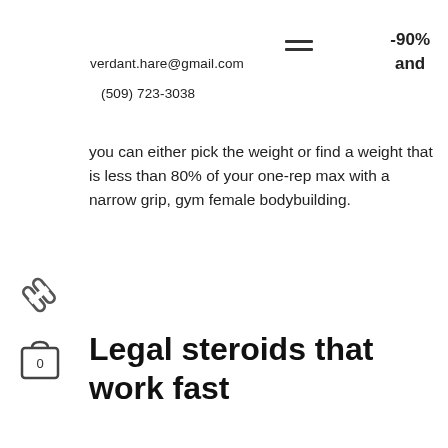verdant.hare@gmail.com   -90% and
(509) 723-3038
you can either pick the weight or find a weight that is less than 80% of your one-rep max with a narrow grip, gym female bodybuilding.
Legal steroids that work fast
The best legal steroids that work for cutting The best legal steroids that work for bulking The best legal steroid stack for natural bodybuildingThe best natural testosterone stack for bulking The best supplement that will make you look like a professional A comprehensive primer on testosterone supplementation for bodybuilders and the natural steroids